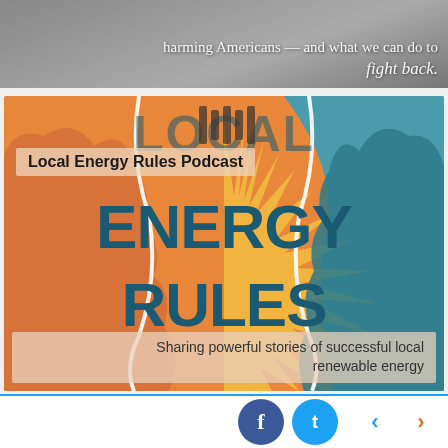[Figure (photo): Grayscale background image with white overlay text about harming Americans and what we can do to fight back.]
harming Americans — and what we can do to fight back.
[Figure (illustration): Local Energy Rules Podcast graphic with colorful illustration of facing silhouettes in orange and teal, bold text reading ENERGY RULES in teal on yellow sunburst background.]
Local Energy Rules Podcast
Sharing powerful stories of successful local renewable energy
[Figure (photo): Partial thumbnail image strip at bottom with small sun icons visible.]